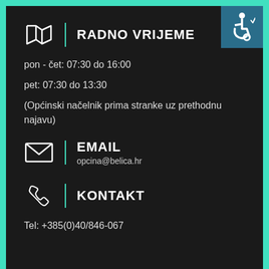[Figure (other): Accessibility wheelchair icon badge in teal/blue square, top right corner]
RADNO VRIJEME
pon - čet: 07:30 do 16:00
pet: 07:30 do 13:30
(Općinski načelnik prima stranke uz prethodnu najavu)
EMAIL
opcina@belica.hr
KONTAKT
Tel:  +385(0)40/846-067